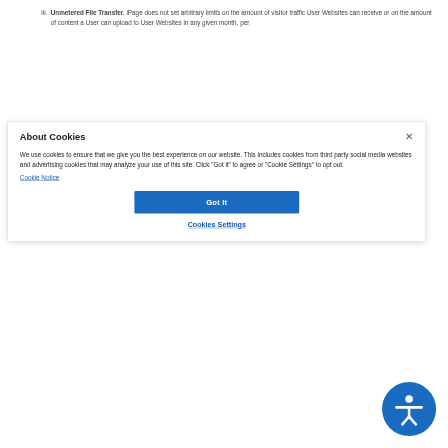iii. Unmetered File Transfer. iPage does not set arbitrary limits on the amount of visitor traffic User Websites can receive or on the amount of content a User can upload to User Websites in any given month, per
[Figure (screenshot): Cookie consent modal dialog with title 'About Cookies', body text about cookie usage, a 'Got It' button, 'Cookies Settings' link, and an accessibility icon in the bottom right corner.]